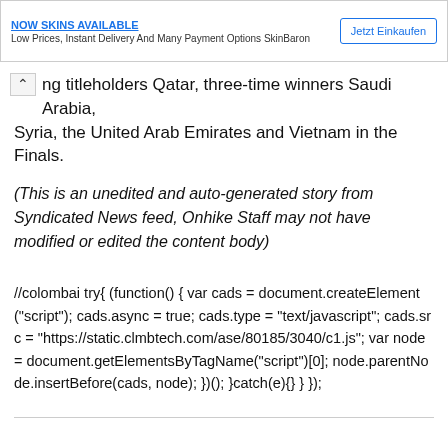[Figure (other): Advertisement banner: 'Low Prices, Instant Delivery And Many Payment Options SkinBaron' with 'Jetzt Einkaufen' button]
ng titleholders Qatar, three-time winners Saudi Arabia, Syria, the United Arab Emirates and Vietnam in the Finals.
(This is an unedited and auto-generated story from Syndicated News feed, Onhike Staff may not have modified or edited the content body)
//colombai try{ (function() { var cads = document.createElement("script"); cads.async = true; cads.type = "text/javascript"; cads.src = "https://static.clmbtech.com/ase/80185/3040/c1.js"; var node = document.getElementsByTagName("script")[0]; node.parentNode.insertBefore(cads, node); })(); }catch(e){} } });